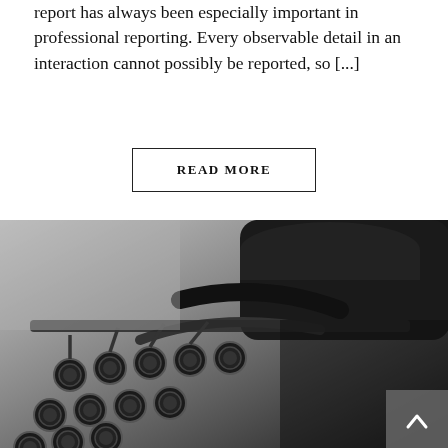report has always been especially important in professional reporting. Every observable detail in an interaction cannot possibly be reported, so [...]
READ MORE
[Figure (photo): Black and white close-up photograph of a vintage typewriter, showing keys and carriage mechanism]